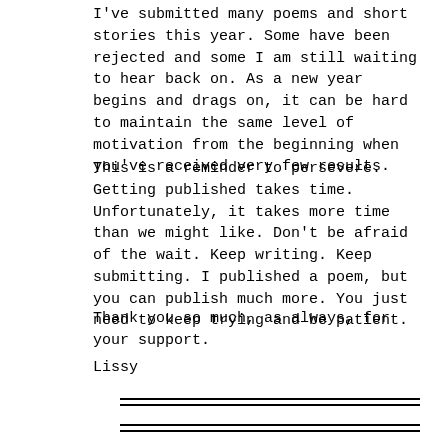I've submitted many poems and short stories this year. Some have been rejected and some I am still waiting to hear back on. As a new year begins and drags on, it can be hard to maintain the same level of motivation from the beginning when you've received very few results.
This is a reminder to persevere. Getting published takes time. Unfortunately, it takes more time than we might like. Don't be afraid of the wait. Keep writing. Keep submitting. I published a poem, but you can publish much more. You just need to keep trying and be patient.
Thank you so much, as always, for your support.
Lissy